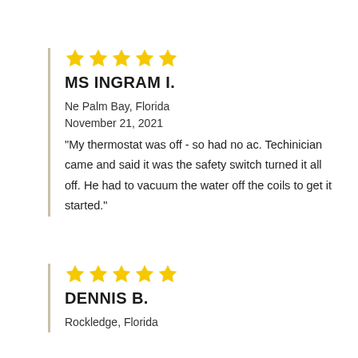★★★★★
MS INGRAM I.
Ne Palm Bay, Florida
November 21, 2021
"My thermostat was off - so had no ac. Techinician came and said it was the safety switch turned it all off. He had to vacuum the water off the coils to get it started."
★★★★★
DENNIS B.
Rockledge, Florida